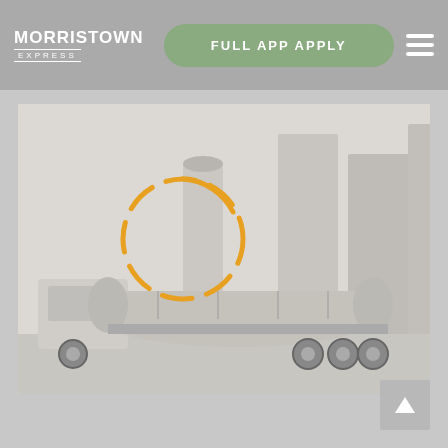MORRISTOWN EXPRESS — FULL APP APPLY
[Figure (photo): Morristown Express website screenshot showing header with logo, 'FULL APP APPLY' button, hamburger menu, and main photo of a white tanker/bulk truck with industrial silos in the background. A loading spinner (dashed orange circle) is overlaid on the photo. A scroll-to-top button appears in the bottom right.]